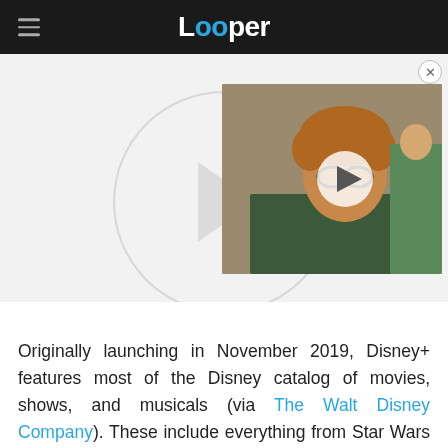Looper
[Figure (screenshot): Video player thumbnail showing a young boy with curly red hair and glasses wearing a green uniform, with a play button overlay. Behind the thumbnail is a large circular play button graphic on a white background.]
Originally launching in November 2019, Disney+ features most of the Disney catalog of movies, shows, and musicals (via The Walt Disney Company). These include everything from Star Wars and Marvel to Mickey Mouse and Disney princesses. Buoyed by its sprawling reach and unparalleled brand